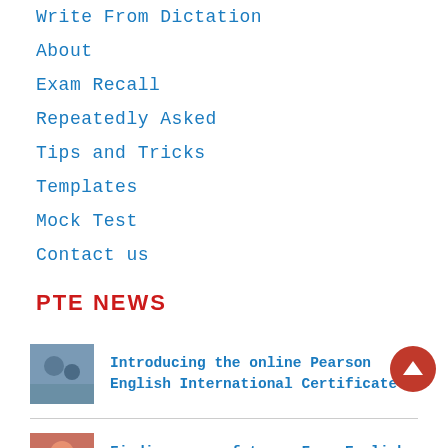Write From Dictation
About
Exam Recall
Repeatedly Asked
Tips and Tricks
Templates
Mock Test
Contact us
PTE NEWS
Introducing the online Pearson English International Certificate
Finding a new future: Free English language tests for refugees
What's the most effective way to learn